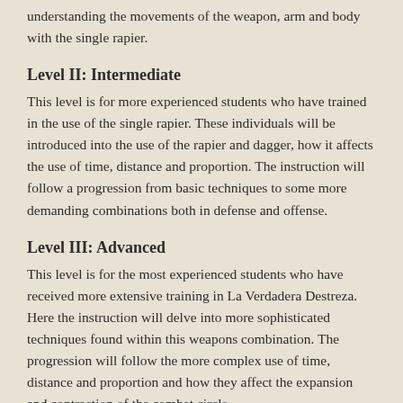understanding the movements of the weapon, arm and body with the single rapier.
Level II: Intermediate
This level is for more experienced students who have trained in the use of the single rapier. These individuals will be introduced into the use of the rapier and dagger, how it affects the use of time, distance and proportion. The instruction will follow a progression from basic techniques to some more demanding combinations both in defense and offense.
Level III: Advanced
This level is for the most experienced students who have received more extensive training in La Verdadera Destreza. Here the instruction will delve into more sophisticated techniques found within this weapons combination. The progression will follow the more complex use of time, distance and proportion and how they affect the expansion and contraction of the combat circle.